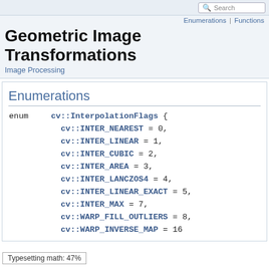Search
Enumerations | Functions
Geometric Image Transformations
Image Processing
Enumerations
enum  cv::InterpolationFlags { cv::INTER_NEAREST = 0, cv::INTER_LINEAR = 1, cv::INTER_CUBIC = 2, cv::INTER_AREA = 3, cv::INTER_LANCZOS4 = 4, cv::INTER_LINEAR_EXACT = 5, cv::INTER_MAX = 7, cv::WARP_FILL_OUTLIERS = 8, cv::WARP_INVERSE_MAP = 16
Typesetting math: 47%